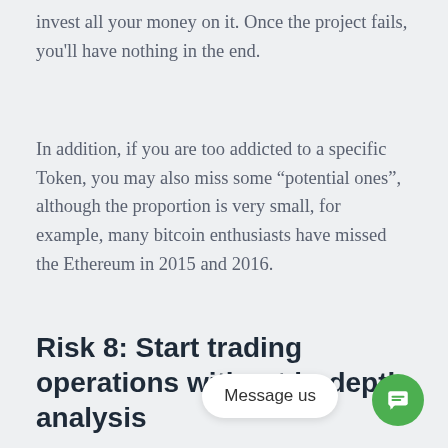invest all your money on it. Once the project fails, you'll have nothing in the end.
In addition, if you are too addicted to a specific Token, you may also miss some “potential ones”, although the proportion is very small, for example, many bitcoin enthusiasts have missed the Ethereum in 2015 and 2016.
Risk 8: Start trading operations without in-depth analysis
Message us